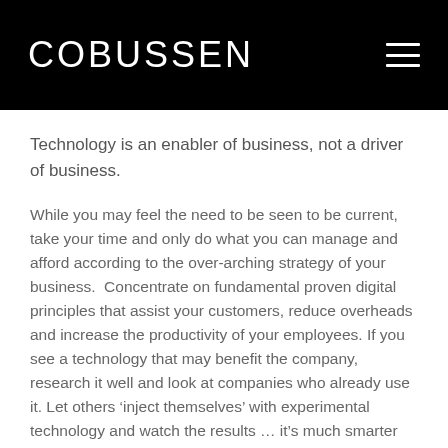COBUSSEN
Technology is an enabler of business, not a driver of business.
While you may feel the need to be seen to be current, take your time and only do what you can manage and afford according to the over-arching strategy of your business.  Concentrate on fundamental proven digital principles that assist your customers, reduce overheads and increase the productivity of your employees. If you see a technology that may benefit the company, research it well and look at companies who already use it. Let others ‘inject themselves’ with experimental technology and watch the results … it’s much smarter and a lot less painful.